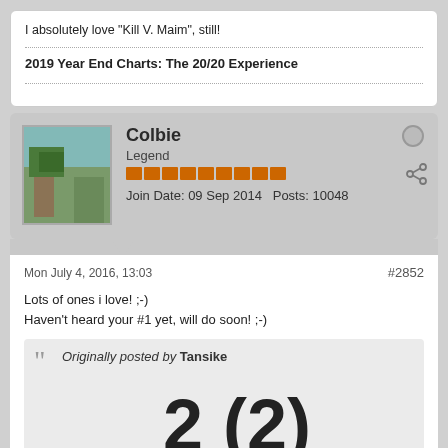I absolutely love "Kill V. Maim", still!
2019 Year End Charts: The 20/20 Experience
Colbie
Legend
Join Date: 09 Sep 2014    Posts: 10048
Mon July 4, 2016, 13:03    #2852
Lots of ones i love! ;-)
Haven't heard your #1 yet, will do soon! ;-)
Originally posted by Tansike